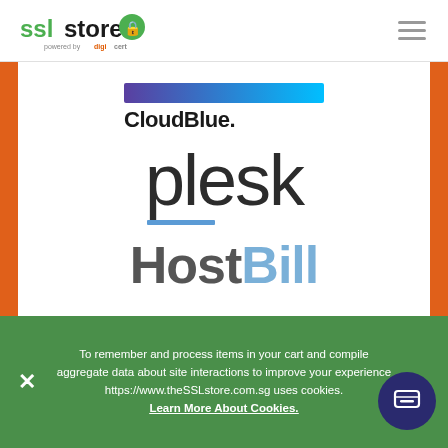SSLStore powered by DigiCert — navigation header
[Figure (logo): CloudBlue logo with gradient bar (purple to cyan) and bold text 'CloudBlue.']
[Figure (logo): Plesk logo in large light-weight dark text with a blue underline accent]
[Figure (logo): HostBill logo with 'Host' in dark gray and 'Bill' in light blue]
To remember and process items in your cart and compile aggregate data about site interactions to improve your experience https://www.theSSLstore.com.sg uses cookies. Learn More About Cookies.